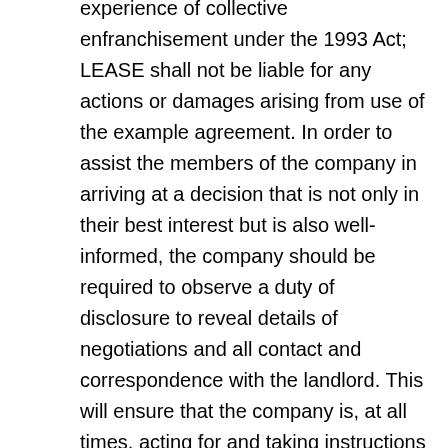seek advice from a solicitor with experience of collective enfranchisement under the 1993 Act; LEASE shall not be liable for any actions or damages arising from use of the example agreement. In order to assist the members of the company in arriving at a decision that is not only in their best interest but is also well-informed, the company should be required to observe a duty of disclosure to reveal details of negotiations and all contact and correspondence with the landlord. This will ensure that the company is, at all times, acting for and taking instructions from the participating leaseholders and not acting alone on information not shared with them. Because each rental property is different and laws vary by state, your lease agreement may